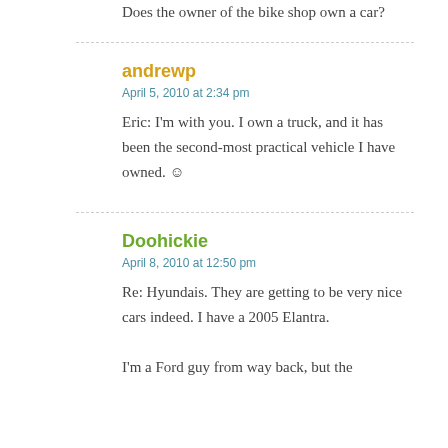Does the owner of the bike shop own a car?
andrewp
April 5, 2010 at 2:34 pm
Eric: I'm with you. I own a truck, and it has been the second-most practical vehicle I have owned. ☺
Doohickie
April 8, 2010 at 12:50 pm
Re: Hyundais. They are getting to be very nice cars indeed. I have a 2005 Elantra. I'm a Ford guy from way back, but the